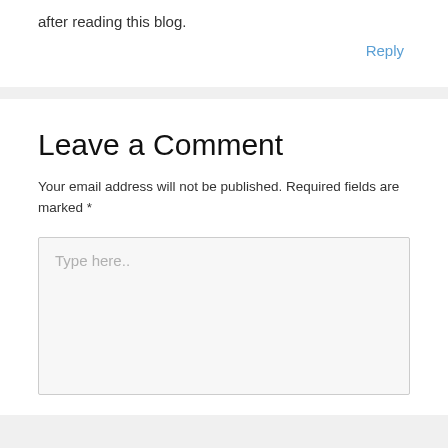after reading this blog.
Reply
Leave a Comment
Your email address will not be published. Required fields are marked *
Type here..